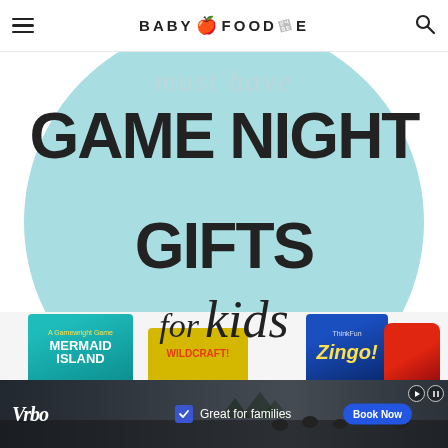BABY FOODIE (website header with hamburger menu and search icon)
[Figure (illustration): Large light blue circle background with bold text reading 'must have GAME NIGHT GIFTS for kids' — a promotional graphic for game night gifts for kids]
[Figure (photo): Bottom strip showing board game boxes: Mermaid Island game, a yellow box game, Zingo game box, and a red Zingo dispenser toy]
[Figure (infographic): Advertisement banner for Vrbo with cyclists in background, blue checkbox, text 'Great for families', and 'Book Now' button]